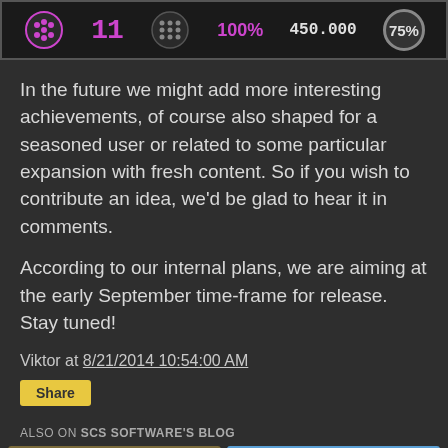[Figure (screenshot): Game achievements banner showing icons: pink star-like icon, pink number 11, grey dot grid icon, pink 100%, white 450.000, grey circle with 75%]
In the future we might add more interesting achievements, of course also shaped for a seasoned user or related to some particular expansion with fresh content. So if you wish to contribute an idea, we'd be glad to hear it in comments.
According to our internal plans, we are aiming at the early September time-frame for release. Stay tuned!
Viktor at 8/21/2014 10:54:00 AM
Share
ALSO ON SCS SOFTWARE'S BLOG
[Figure (screenshot): Two blog post thumbnails side by side. Left: American Truck Simulator screenshot with desert mountain landscape and game logo. Right: Blue sky with clouds. Right thumbnail has '2 months ago • 35 comme' text overlay at bottom.]